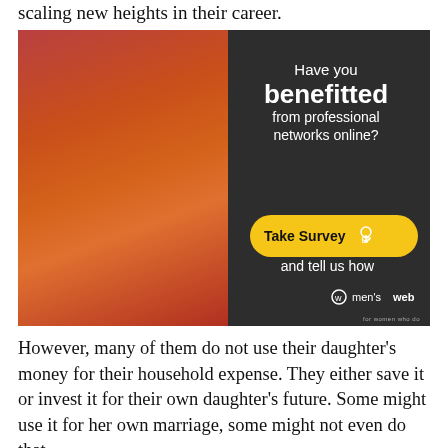scaling new heights in their career.
[Figure (photo): Advertisement from Women's Web showing a woman in a red saree with text: 'Have you benefitted from professional networks online? Take Survey and tell us how'. The ad features a yellow 'Take Survey' button with a cursor icon and the Women's Web logo.]
However, many of them do not use their daughter's money for their household expense. They either save it or invest it for their own daughter's future. Some might use it for her own marriage, some might not even do that.